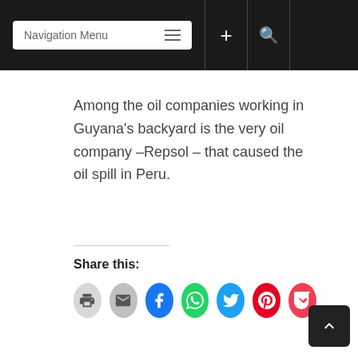Navigation Menu
Among the oil companies working in Guyana's backyard is the very oil company –Repsol – that caused the oil spill in Peru.
Share this: